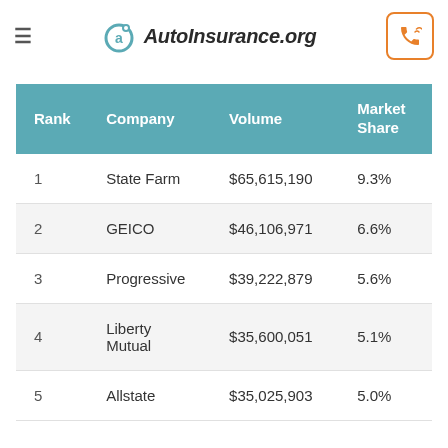AutoInsurance.org
| Rank | Company | Volume | Market Share |
| --- | --- | --- | --- |
| 1 | State Farm | $65,615,190 | 9.3% |
| 2 | GEICO | $46,106,971 | 6.6% |
| 3 | Progressive | $39,222,879 | 5.6% |
| 4 | Liberty Mutual | $35,600,051 | 5.1% |
| 5 | Allstate | $35,025,903 | 5.0% |